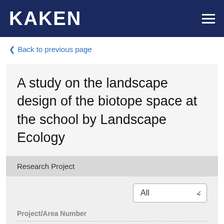KAKEN
< Back to previous page
A study on the landscape design of the biotope space at the school by Landscape Ecology
Research Project
All
Project/Area Number
12660034